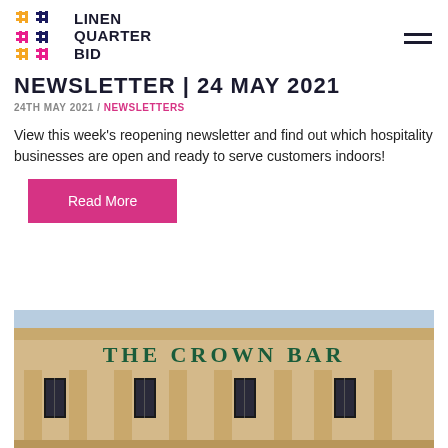[Figure (logo): Linen Quarter BID logo with colorful hashtag grid icon and bold text LINEN QUARTER BID]
NEWSLETTER | 24 MAY 2021
24TH MAY 2021 / NEWSLETTERS
View this week's reopening newsletter and find out which hospitality businesses are open and ready to serve customers indoors!
Read More
[Figure (photo): Facade of The Crown Bar building with classical architectural details, columns, and signage reading THE CROWN BAR]